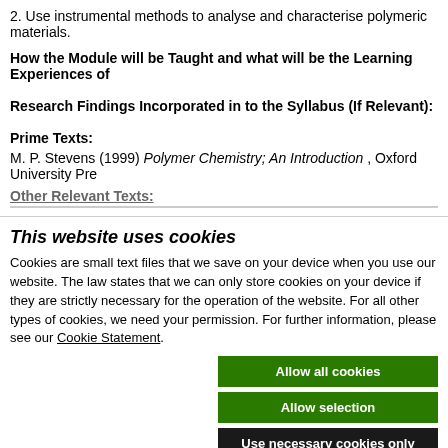2. Use instrumental methods to analyse and characterise polymeric materials.
How the Module will be Taught and what will be the Learning Experiences of
Research Findings Incorporated in to the Syllabus (If Relevant):
Prime Texts:
M. P. Stevens (1999) Polymer Chemistry; An Introduction , Oxford University Pre
Other Relevant Texts:
This website uses cookies
Cookies are small text files that we save on your device when you use our website. The law states that we can only store cookies on your device if they are strictly necessary for the operation of the website. For all other types of cookies, we need your permission. For further information, please see our Cookie Statement.
Allow all cookies
Allow selection
Use necessary cookies only
Necessary  Preferences  Statistics  Marketing  Show details